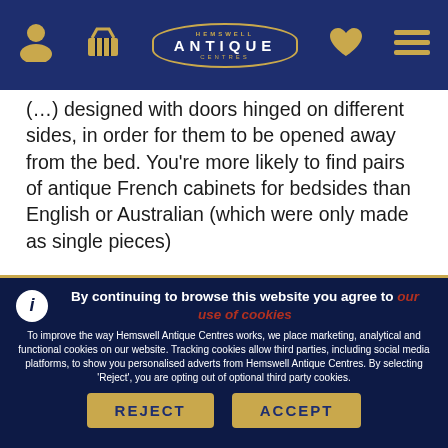Hemswell Antique Centres — navigation bar
designed with doors hinged on different sides, in order for them to be opened away from the bed. You’re more likely to find pairs of antique French cabinets for bedsides than English or Australian (which were only made as single pieces)
By continuing to browse this website you agree to our use of cookies
To improve the way Hemswell Antique Centres works, we place marketing, analytical and functional cookies on our website. Tracking cookies allow third parties, including social media platforms, to show you personalised adverts from Hemswell Antique Centres. By selecting ‘Reject’, you are opting out of optional third party cookies.
REJECT
ACCEPT